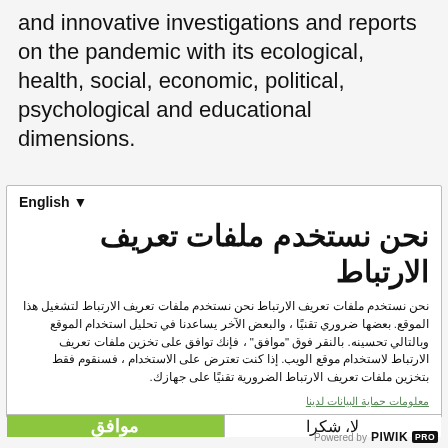and innovative investigations and reports on the pandemic with its ecological, health, social, economic, political, psychological and educational dimensions.
English ▾
نحن نستخدم ملفات تعريف الارتباط
نحن نستخدم ملفات تعريف الارتباط نحن نستخدم ملفات تعريف الارتباط لتشغيل هذا الموقع. بعضها ضروري تقنيًا ، والبعض الآخر يساعدنا في تحليل استخدام الموقع وبالتالي تحسينه. بالنقر فوق "موافق" ، فإنك توافق على تخزين ملفات تعريف الارتباط لاستخدام موقع الويب. إذا كنت تعترض على الاستخدام ، فسنقوم فقط بتخزين ملفات تعريف الارتباط الضرورية تقنيًا على جهازك.
معلومات حماية البيانات لدينا
موافق
لا، شكرا
Powered by PIWIK PRO